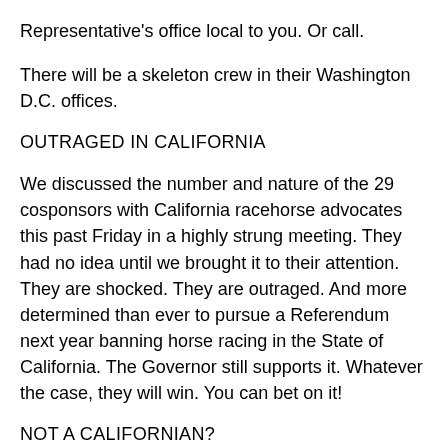Representative's office local to you. Or call.
There will be a skeleton crew in their Washington D.C. offices.
OUTRAGED IN CALIFORNIA
We discussed the number and nature of the 29 cosponsors with California racehorse advocates this past Friday in a highly strung meeting. They had no idea until we brought it to their attention. They are shocked. They are outraged. And more determined than ever to pursue a Referendum next year banning horse racing in the State of California. The Governor still supports it. Whatever the case, they will win. You can bet on it!
NOT A CALIFORNIAN?